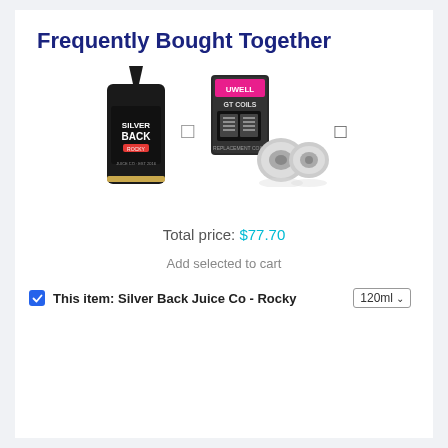Frequently Bought Together
[Figure (photo): Two vaping products shown side by side: a Silver Back Juice Co bottle on the left and GT Coils product with two coils on the right, connected with a plus symbol and navigation arrows.]
Total price: $77.70
Add selected to cart
This item: Silver Back Juice Co - Rocky   120ml ▾